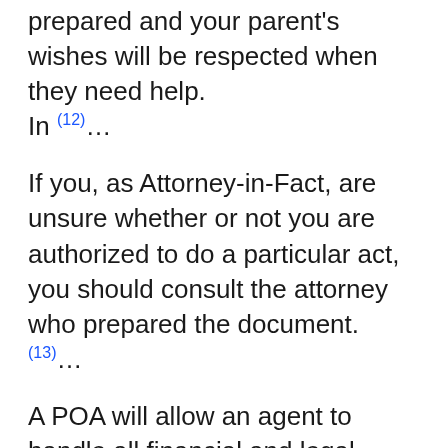in place, you can be confident that you're prepared and your parent's wishes will be respected when they need help. In (12)…
If you, as Attorney-in-Fact, are unsure whether or not you are authorized to do a particular act, you should consult the attorney who prepared the document. (13)…
A POA will allow an agent to handle all financial and legal matters of an incapacitated individual. But, be aware that a durable power of attorney is not a one-  Rating: 5 · 47 reviews(14)…